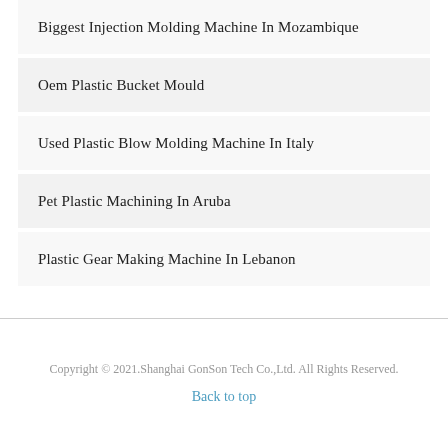Biggest Injection Molding Machine In Mozambique
Oem Plastic Bucket Mould
Used Plastic Blow Molding Machine In Italy
Pet Plastic Machining In Aruba
Plastic Gear Making Machine In Lebanon
Copyright © 2021.Shanghai GonSon Tech Co.,Ltd. All Rights Reserved.
Back to top